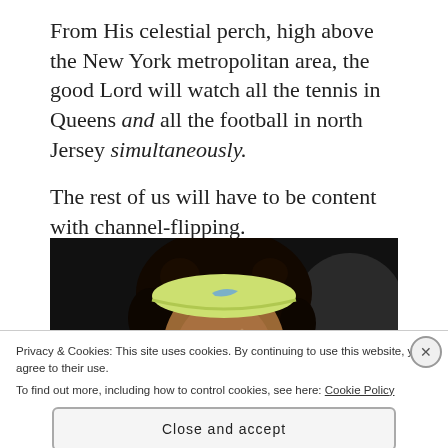From His celestial perch, high above the New York metropolitan area, the good Lord will watch all the tennis in Queens and all the football in north Jersey simultaneously.
The rest of us will have to be content with channel-flipping.
[Figure (photo): Close-up photo of a female tennis player (Serena Williams) wearing a yellow-green Nike headband, looking upward, against a dark background.]
Privacy & Cookies: This site uses cookies. By continuing to use this website, you agree to their use.
To find out more, including how to control cookies, see here: Cookie Policy
Close and accept